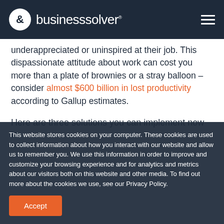businesssolver
underappreciated or uninspired at their job. This dispassionate attitude about work can cost you more than a plate of brownies or a stray balloon – consider almost $600 billion in lost productivity according to Gallup estimates.
Here are three solutions you can implement now to
This website stores cookies on your computer. These cookies are used to collect information about how you interact with our website and allow us to remember you. We use this information in order to improve and customize your browsing experience and for analytics and metrics about our visitors both on this website and other media. To find out more about the cookies we use, see our Privacy Policy.
Accept